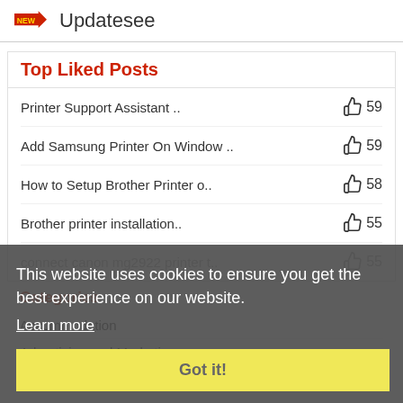Updatesee
Top Liked Posts
Printer Support Assistant .. 👍 59
Add Samsung Printer On Window .. 👍 59
How to Setup Brother Printer o.. 👍 58
Brother printer installation.. 👍 55
connect canon mg2922 printer t.. 👍 55
This website uses cookies to ensure you get the best experience on our website.
Learn more
Got it!
Categories
Accommodation
Advertising and Marketing
Agriculture